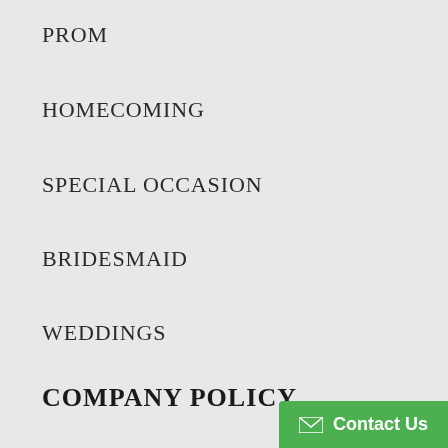PROM
HOMECOMING
SPECIAL OCCASION
BRIDESMAID
WEDDINGS
COMPANY POLICY
Return Policy
Shipping Policy
Estimated Delivery Time